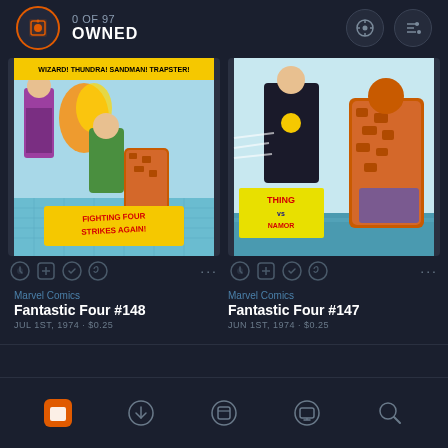0 OF 97 OWNED
[Figure (screenshot): Comic book cover for Fantastic Four #148 - Marvel Comics action scene with multiple heroes fighting]
[Figure (screenshot): Comic book cover for Fantastic Four #147 - Marvel Comics featuring The Thing and another character fighting]
Marvel Comics
Fantastic Four #148
JUL 1ST, 1974 · $0.25
Marvel Comics
Fantastic Four #147
JUN 1ST, 1974 · $0.25
Navigation bar with home, download, library, reading, and search icons